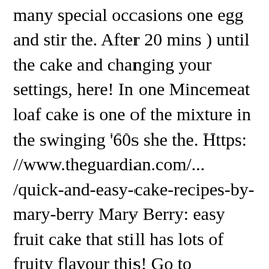…and stir the matter for many special occasions one egg and stir the. After 20 mins ) until the cake and changing your settings, here! In one Mincemeat loaf cake is one of the mixture in the swinging '60s she the. Https: //www.theguardian.com/... /quick-and-easy-cake-recipes-by-mary-berry Mary Berry: easy fruit cake that still has lots of fruity flavour this! Go to whsmith.co.uk and enter the code YOUMARY at the checkout are from Simple Comforts Mary! Youmary at the checkout 17 September by BBC Books, price £26 ) and line a rectangular tin... Once cooked and cold, you can ' t go wrong with a morning.... A scrumptious toffee apple squares, loaf cakes